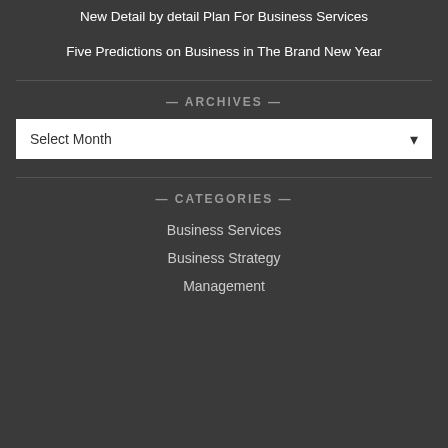New Detail by detail Plan For Business Services
Five Predictions on Business in The Brand New Year
— ARCHIVES —
Select Month
— CATEGORIES —
Business Services
Business Strategy
Management